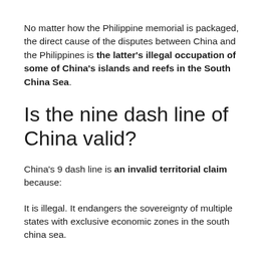No matter how the Philippine memorial is packaged, the direct cause of the disputes between China and the Philippines is the latter's illegal occupation of some of China's islands and reefs in the South China Sea.
Is the nine dash line of China valid?
China's 9 dash line is an invalid territorial claim because:
It is illegal. It endangers the sovereignty of multiple states with exclusive economic zones in the south china sea.